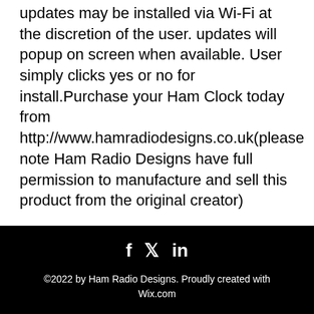updates may be installed via Wi-Fi at the discretion of the user. updates will popup on screen when available. User simply clicks yes or no for install.Purchase your Ham Clock today from http://www.hamradiodesigns.co.uk(please note Ham Radio Designs have full permission to manufacture and sell this product from the original creator)
©2022 by Ham Radio Designs. Proudly created with Wix.com